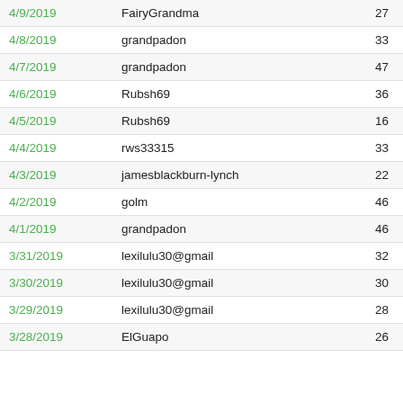| Date | User | Count |
| --- | --- | --- |
| 4/9/2019 | FairyGrandma | 27 |
| 4/8/2019 | grandpadon | 33 |
| 4/7/2019 | grandpadon | 47 |
| 4/6/2019 | Rubsh69 | 36 |
| 4/5/2019 | Rubsh69 | 16 |
| 4/4/2019 | rws33315 | 33 |
| 4/3/2019 | jamesblackburn-lynch | 22 |
| 4/2/2019 | golm | 46 |
| 4/1/2019 | grandpadon | 46 |
| 3/31/2019 | lexilulu30@gmail | 32 |
| 3/30/2019 | lexilulu30@gmail | 30 |
| 3/29/2019 | lexilulu30@gmail | 28 |
| 3/28/2019 | ElGuapo | 26 |